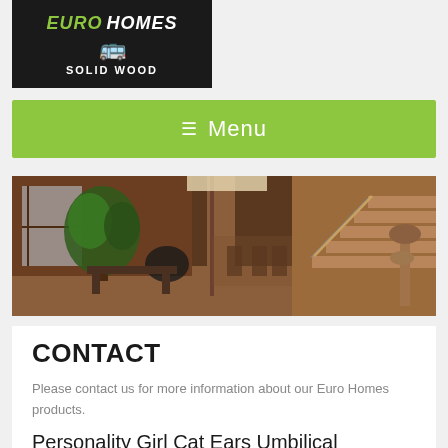[Figure (logo): Euro Homes Solid Wood logo — dark background with green EURO text, white HOMES text, green truck icon, and white SOLID WOOD text]
☰  Menu
[Figure (photo): Interior of a wood-frame home showing open living area with large plant, wooden staircase, dining area, and wooden beams]
CONTACT
Please contact us for more information about our Euro Homes products.
Personality Girl Cat Ears Umbilical